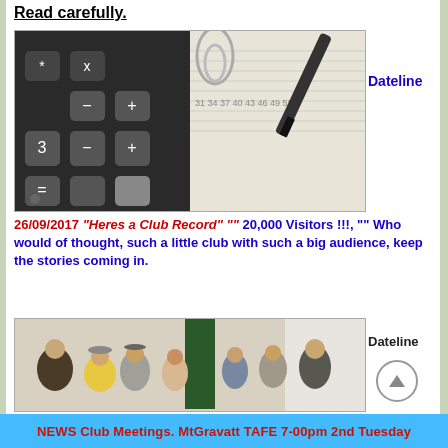Read carefully.
[Figure (photo): Close-up photograph of a calculator with dark keys showing symbols like *, x, -, +, 3, =, alongside a spreadsheet with numbers and a pen resting on the paper.]
Dateline
26/09/2017 "Heres a Club Record" "" 20,000 Visitors !!!, "" Who would of thought, such a little club with such a big audience, keep the stories coming in.
[Figure (photo): Photograph of people mingling inside a community hall or TAFE meeting room, with a green curtain visible in the background and white walls.]
Dateline
NEWS Club Meetings. MtGravatt TAFE 7-00pm  2nd Tuesday